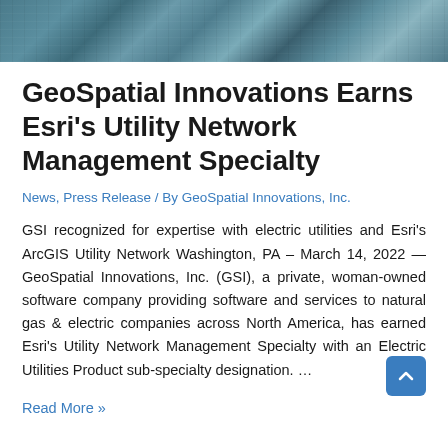[Figure (photo): Aerial photograph of a residential neighborhood showing rooftops and streets from above, with blue-green tones.]
GeoSpatial Innovations Earns Esri's Utility Network Management Specialty
News, Press Release / By GeoSpatial Innovations, Inc.
GSI recognized for expertise with electric utilities and Esri's ArcGIS Utility Network Washington, PA – March 14, 2022 — GeoSpatial Innovations, Inc. (GSI), a private, woman-owned software company providing software and services to natural gas & electric companies across North America, has earned Esri's Utility Network Management Specialty with an Electric Utilities Product sub-specialty designation. …
Read More »